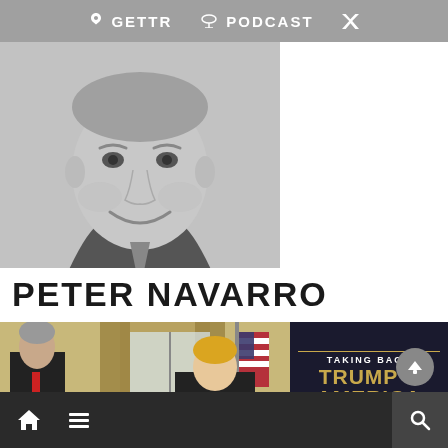GETTR  PODCAST  [Twitter icon]
[Figure (photo): Black and white portrait photo of Peter Navarro smiling, wearing a suit]
PETER NAVARRO
[Figure (photo): Color photo composite: left side shows Peter Navarro and Donald Trump in the Oval Office; right side shows book cover 'Taking Back Trump's America: Why We Lost the White House and How We'll Win It Back' by Peter Navarro, Bestselling author of In Trump Time]
[home icon] [menu icon] [search icon]